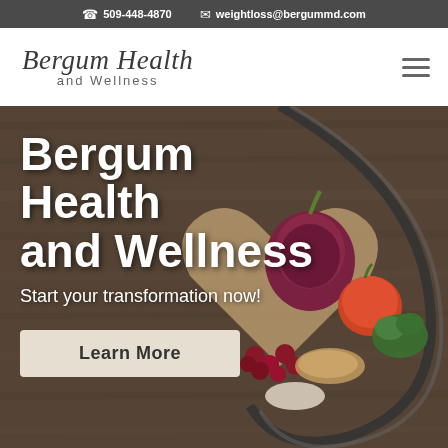📞 509-448-4870  ✉ weightloss@bergummd.com
[Figure (logo): Bergum Health and Wellness script logo with hamburger menu icon]
[Figure (photo): Background photo of vegetables including red onion, tomato, broccoli, cranberries, lentils and grains arranged in a heart-shaped bowl on a wooden surface with a stethoscope]
Bergum Health and Wellness
Start your transformation now!
Learn More